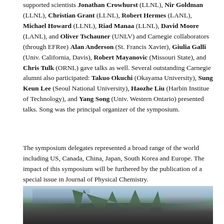supported scientists Jonathan Crowhurst (LLNL), Nir Goldman (LLNL), Christian Grant (LLNL), Robert Hermes (LANL), Michael Howard (LLNL), Riad Manaa (LLNL), David Moore (LANL), and Oliver Tschauner (UNLV) and Carnegie collaborators (through EFRee) Alan Anderson (St. Francis Xavier), Giulia Galli (Univ. California, Davis), Robert Mayanovic (Missouri State), and Chris Tulk (ORNL) gave talks as well. Several outstanding Carnegie alumni also participated: Takuo Okuchi (Okayama University), Sung Keun Lee (Seoul National University), Haozhe Liu (Harbin Institue of Technology), and Yang Song (Univ. Western Ontario) presented talks. Song was the principal organizer of the symposium.
The symposium delegates represented a broad range of the world including US, Canada, China, Japan, South Korea and Europe. The impact of this symposium will be furthered by the publication of a special issue in Journal of Physical Chemistry.
[Figure (photo): Group photo of symposium delegates outdoors with palm trees, buildings, and a waterfront in the background. A large crowd of people posed in rows.]